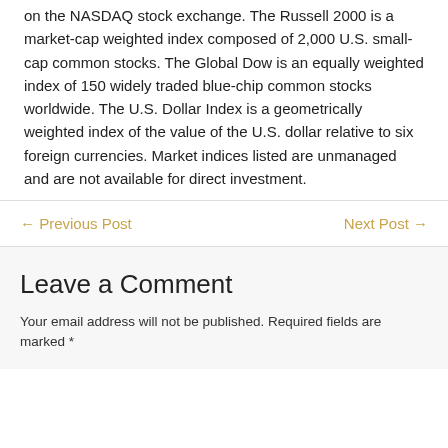on the NASDAQ stock exchange. The Russell 2000 is a market-cap weighted index composed of 2,000 U.S. small-cap common stocks. The Global Dow is an equally weighted index of 150 widely traded blue-chip common stocks worldwide. The U.S. Dollar Index is a geometrically weighted index of the value of the U.S. dollar relative to six foreign currencies. Market indices listed are unmanaged and are not available for direct investment.
← Previous Post    Next Post →
Leave a Comment
Your email address will not be published. Required fields are marked *